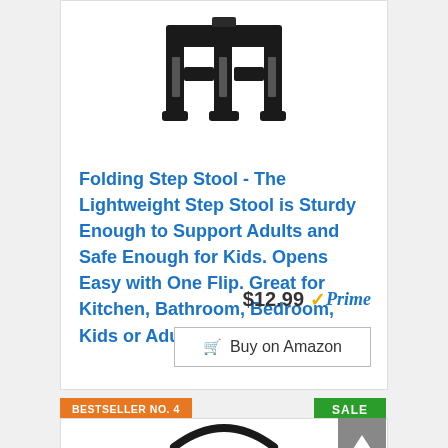[Figure (photo): Black folding step stool product photo on white background]
Folding Step Stool - The Lightweight Step Stool is Sturdy Enough to Support Adults and Safe Enough for Kids. Opens Easy with One Flip. Great for Kitchen, Bathroom, Bedroom, Kids or Adults.
$12.99 ✓Prime
Buy on Amazon
BESTSELLER NO. 4
SALE
[Figure (photo): Black folding headphones/step stool product photo, partially visible at bottom of page]